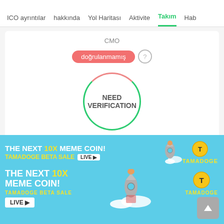ICO ayrıntılar  hakkında  Yol Haritası  Aktivite  Takım  Hab
CMO
doğrulanmamış
[Figure (other): Circle badge with text 'NEED VERIFICATION' inside, green and pink dashed border]
Tomaž Jaklitsch
Senior Consultant
doğrulanmamış
[Figure (infographic): Tamadoge advertisement banner: 'THE NEXT 10X MEME COIN! TAMADOGE BETA SALE LIVE' with cartoon rocket and coin graphics]